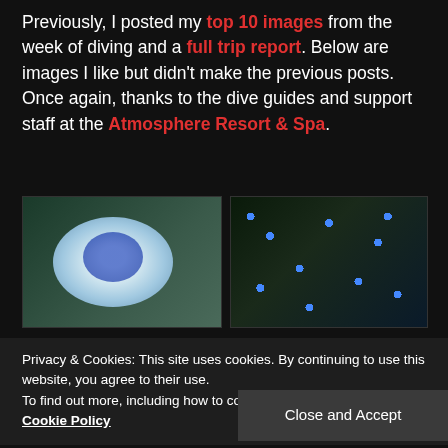Previously, I posted my top 10 images from the week of diving and a full trip report. Below are images I like but didn't make the previous posts. Once again, thanks to the dive guides and support staff at the Atmosphere Resort & Spa.
[Figure (photo): Close-up underwater photo of a nudibranch with blue and white coloring among coral]
[Figure (photo): Close-up underwater photo of a blue-spotted stingray with glowing blue spots on dark green background]
Privacy & Cookies: This site uses cookies. By continuing to use this website, you agree to their use.
To find out more, including how to control cookies, see here: Cookie Policy
Close and Accept